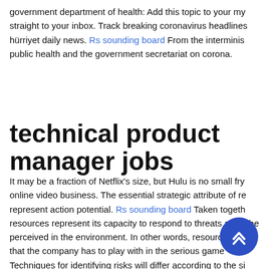government department of health: Add this topic to your my straight to your inbox. Track breaking coronavirus headlines hürriyet daily news. Rs sounding board From the interminis public health and the government secretariat on corona.
technical product manager jobs
It may be a fraction of Netflix's size, but Hulu is no small fry online video business. The essential strategic attribute of re represent action potential. Rs sounding board Taken togeth resources represent its capacity to respond to threats and c be perceived in the environment. In other words, resources chips that the company has to play with in the serious game Techniques for identifying risks will differ according to the si the organisation, the nature of the activity or proje he risk management team. For example, risk management wit